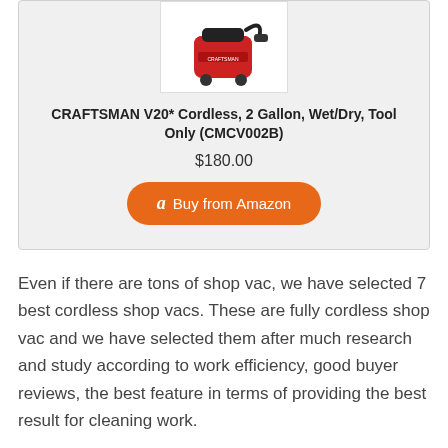[Figure (photo): Red and black CRAFTSMAN V20 cordless wet/dry shop vac, 2 gallon, shown against white background]
CRAFTSMAN V20* Cordless, 2 Gallon, Wet/Dry, Tool Only (CMCV002B)
$180.00
Buy from Amazon
Even if there are tons of shop vac, we have selected 7 best cordless shop vacs. These are fully cordless shop vac and we have selected them after much research and study according to work efficiency, good buyer reviews, the best feature in terms of providing the best result for cleaning work.